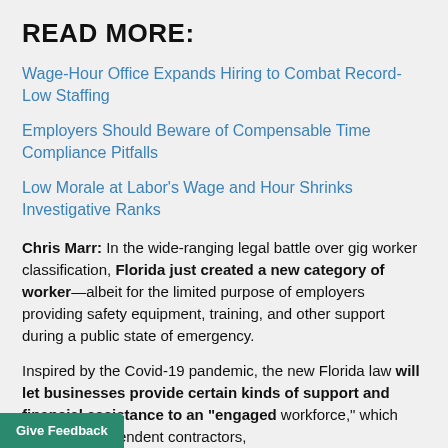READ MORE:
Wage-Hour Office Expands Hiring to Combat Record-Low Staffing
Employers Should Beware of Compensable Time Compliance Pitfalls
Low Morale at Labor's Wage and Hour Shrinks Investigative Ranks
Chris Marr: In the wide-ranging legal battle over gig worker classification, Florida just created a new category of worker—albeit for the limited purpose of employers providing safety equipment, training, and other support during a public state of emergency.
Inspired by the Covid-19 pandemic, the new Florida law will let businesses provide certain kinds of support and financial assistance to an "engaged workforce," which includes independent contractors,